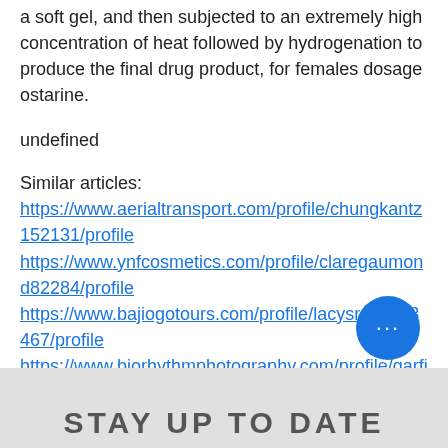a soft gel, and then subjected to an extremely high concentration of heat followed by hydrogenation to produce the final drug product, for females dosage ostarine.
undefined
Similar articles:
https://www.aerialtransport.com/profile/chungkantz152131/profile https://www.ynfcosmetics.com/profile/claregaumond82284/profile https://www.bajiogotours.com/profile/lacysroka153467/profile https://www.biorhythmphotography.com/profile/garfieldhellmich94244/profile
STAY UP TO DATE